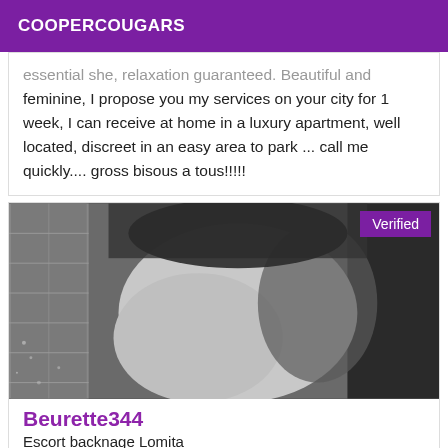COOPERCOUGARS
...essential she, relaxation guaranteed. Beautiful and feminine, I propose you my services on your city for 1 week, I can receive at home in a luxury apartment, well located, discreet in an easy area to park ... call me quickly.... gross bisous a tous!!!!!
[Figure (photo): Grayscale photo with Verified badge in top right corner]
Beurette344
Escort backnage Lomita